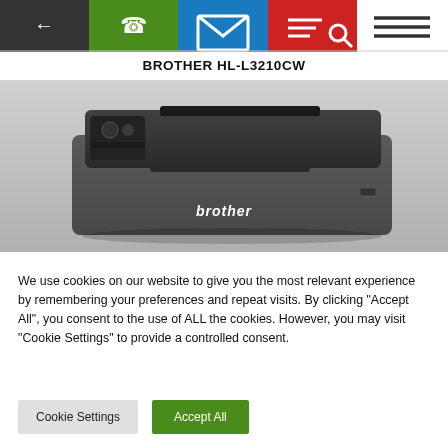[Figure (screenshot): Mobile website navigation bar with back arrow (dark grey), phone icon (green), mail/envelope icon (blue), search/list icon (red), and hamburger menu icon (white background)]
BROTHER HL-L3210CW
[Figure (photo): Photo of Brother HL-L3210CW compact color laser printer in dark grey, viewed from a slightly elevated front angle showing the output tray open on top and the Brother logo on the front panel.]
We use cookies on our website to give you the most relevant experience by remembering your preferences and repeat visits. By clicking "Accept All", you consent to the use of ALL the cookies. However, you may visit "Cookie Settings" to provide a controlled consent.
Cookie Settings
Accept All